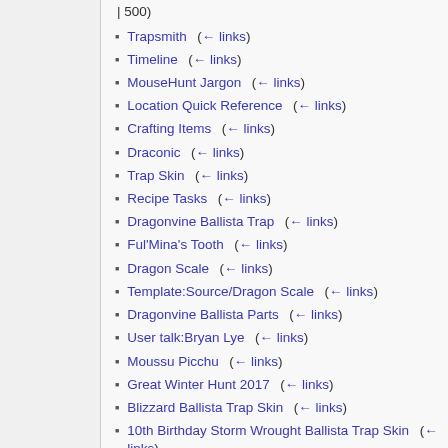| 500)
Trapsmith  (← links)
Timeline  (← links)
MouseHunt Jargon  (← links)
Location Quick Reference  (← links)
Crafting Items  (← links)
Draconic  (← links)
Trap Skin  (← links)
Recipe Tasks  (← links)
Dragonvine Ballista Trap  (← links)
Ful'Mina's Tooth  (← links)
Dragon Scale  (← links)
Template:Source/Dragon Scale  (← links)
Dragonvine Ballista Parts  (← links)
User talk:Bryan Lye  (← links)
Moussu Picchu  (← links)
Great Winter Hunt 2017  (← links)
Blizzard Ballista Trap Skin  (← links)
10th Birthday Storm Wrought Ballista Trap Skin  (← links)
Chrome Storm Wrought Ballista Trap  (← links)